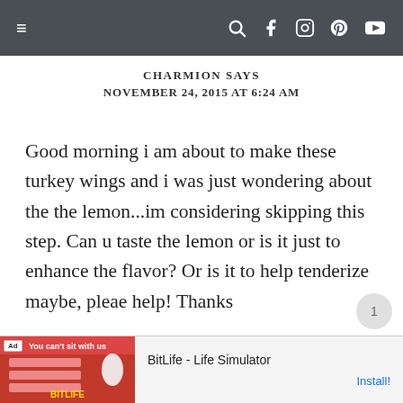≡   🔍 f 🅸 p ▶
CHARMION SAYS
NOVEMBER 24, 2015 AT 6:24 AM
Good morning i am about to make these turkey wings and i was just wondering about the the lemon...im considering skipping this step. Can u taste the lemon or is it just to enhance the flavor? Or is it to help tenderize maybe, pleae help! Thanks
[Figure (screenshot): BitLife Life Simulator advertisement banner at bottom of page]